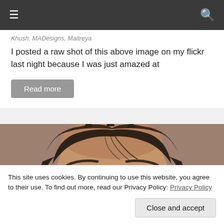≡  🔍
Khush, MADesigns, Maitreya
I posted a raw shot of this above image on my flickr last night because I was just amazed at
Read more
[Figure (photo): Close-up of a 3D rendered male avatar face with dark brown hair and dark eyes, looking slightly to the side. Skin tone is warm brown. The face is cropped below the nose.]
This site uses cookies. By continuing to use this website, you agree to their use. To find out more, read our Privacy Policy: Privacy Policy
Close and accept